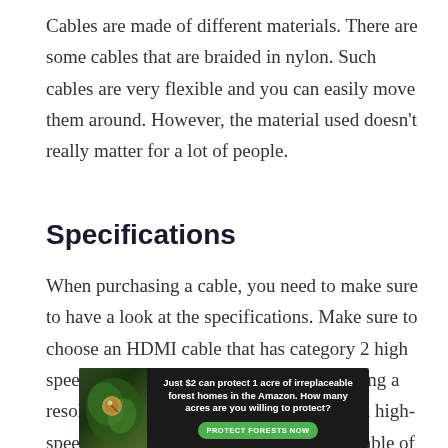Cables are made of different materials. There are some cables that are braided in nylon. Such cables are very flexible and you can easily move them around. However, the material used doesn’t really matter for a lot of people.
Specifications
When purchasing a cable, you need to make sure to have a look at the specifications. Make sure to choose an HDMI cable that has category 2 high speed. Such cables are capable of supporting a resolution of up to 4K. There are also ultra high-speed HDMI cables. These cables are capable of transmitting data up to 8K
[Figure (infographic): Advertisement banner with dark forest background image on left showing a bird/wildlife, and text on dark background: 'Just $2 can protect 1 acre of irreplaceable forest homes in the Amazon. How many acres are you willing to protect?' with a green 'PROTECT FORESTS NOW' button.]